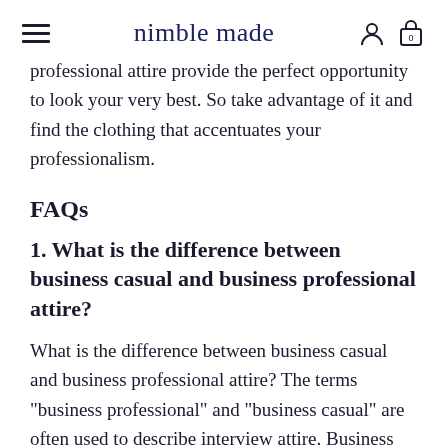nimble made
professional attire provide the perfect opportunity to look your very best. So take advantage of it and find the clothing that accentuates your professionalism.
FAQs
1. What is the difference between business casual and business professional attire?
What is the difference between business casual and business professional attire? The terms "business professional" and "business casual" are often used to describe interview attire. Business